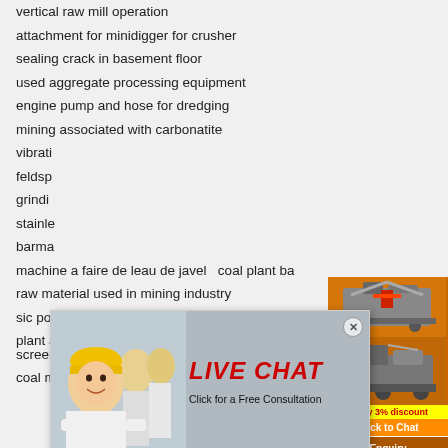vertical raw mill operation
attachment for minidigger for crusher
sealing crack in basement floor
used aggregate processing equipment
engine pump and hose for dredging
mining associated with carbonatite
vibrati...
feldsp...
grindi...
stainle...
barma... ...gg...
machine a faire de leau de javel   coal plant ba...
raw material used in mining industry
sic powder ball milling   roll crusher wythepen...
plant and machinery for iron ore crushing and... screening plant
coal mining equipment in the 1900
[Figure (screenshot): Live chat popup overlay with worker in hard hat image, LIVE CHAT text in red italic, 'Click for a Free Consultation' subtext, red Chat now button and dark Chat later button]
[Figure (screenshot): Right sidebar with orange background showing mining machinery images, Enjoy 3% discount yellow banner, Click to Chat orange button, Enquiry section with limingjlmofen@sina.com email]